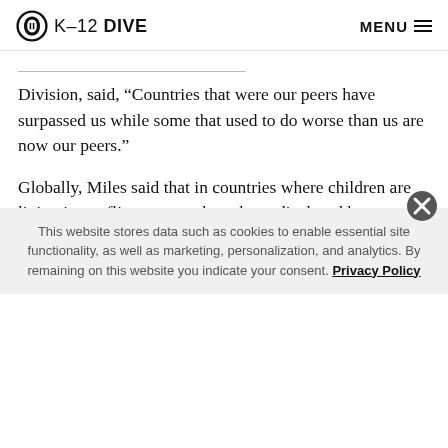K-12 DIVE  MENU
National Center for Education Statistics Assessment Division, said, “Countries that were our peers have surpassed us while some that used to do worse than us are now our peers.”
Globally, Miles said that in countries where children are living in conflict zones or have been displaced because of conflict is where “we see the indicators not going in the right direction.”
This website stores data such as cookies to enable essential site functionality, as well as marketing, personalization, and analytics. By remaining on this website you indicate your consent. Privacy Policy